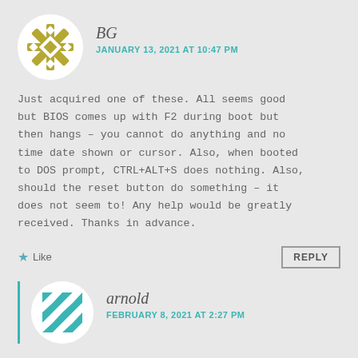[Figure (illustration): Circular avatar icon for user BG with olive/gold geometric snowflake pattern on white background]
BG
JANUARY 13, 2021 AT 10:47 PM
Just acquired one of these. All seems good but BIOS comes up with F2 during boot but then hangs – you cannot do anything and no time date shown or cursor. Also, when booted to DOS prompt, CTRL+ALT+S does nothing. Also, should the reset button do something – it does not seem to! Any help would be greatly received. Thanks in advance.
Like
REPLY
[Figure (illustration): Circular avatar icon for user arnold with teal/white geometric quilt pattern on white background]
arnold
FEBRUARY 8, 2021 AT 2:27 PM